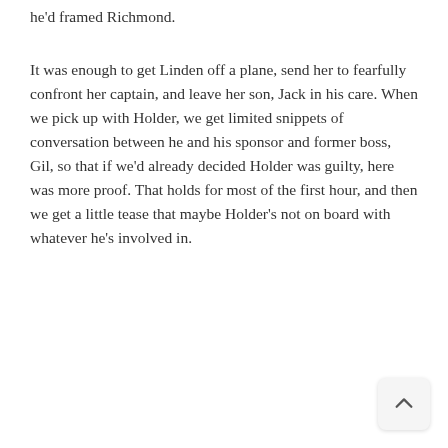he'd framed Richmond.
It was enough to get Linden off a plane, send her to fearfully confront her captain, and leave her son, Jack in his care. When we pick up with Holder, we get limited snippets of conversation between he and his sponsor and former boss, Gil, so that if we'd already decided Holder was guilty, here was more proof. That holds for most of the first hour, and then we get a little tease that maybe Holder's not on board with whatever he's involved in.